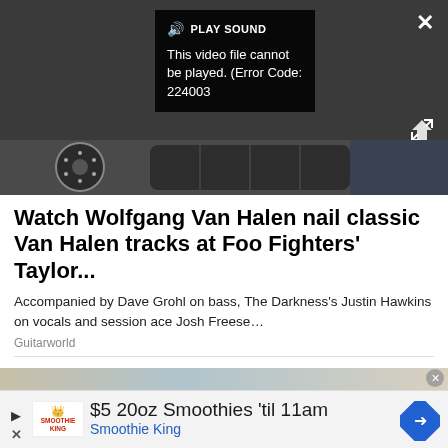[Figure (screenshot): Video player with dark background showing error overlay with 'PLAY SOUND' label, error message 'This video file cannot be played. (Error Code: 224003)', close X button top right, and expand icon bottom right. Guitar/music related imagery visible at bottom of player.]
Watch Wolfgang Van Halen nail classic Van Halen tracks at Foo Fighters' Taylor...
Accompanied by Dave Grohl on bass, The Darkness's Justin Hawkins on vocals and session ace Josh Freese...
Guitarworld
[Figure (photo): Partial thumbnail of a second article showing a light-colored background with some objects.]
[Figure (screenshot): Advertisement for Smoothie King showing '$5 20oz Smoothies til 11am' with Smoothie King logo, play arrow, close X, and blue diamond navigation icon on the right.]